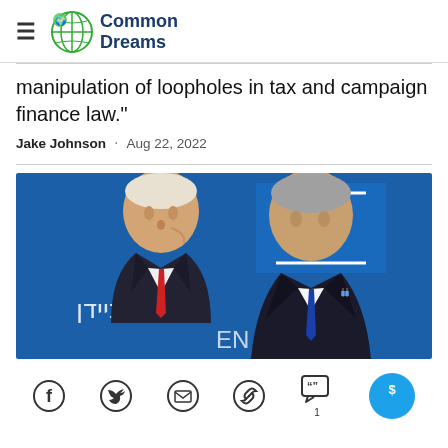Common Dreams
manipulation of loopholes in tax and campaign finance law."
Jake Johnson · Aug 22, 2022
[Figure (photo): Two men in suits facing each other against a blue background with an Israeli flag visible. The man on the left has white hair and is wearing a dark suit with a red and white tie; the man on the right has grey hair and is wearing a dark suit with a blue tie and an Israeli flag pin. Hebrew text is visible in the background.]
Social sharing bar with Facebook, Twitter, Email, Link, Comments (1), and GIVE button